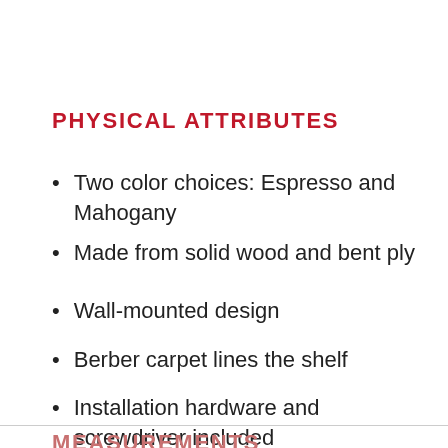PHYSICAL ATTRIBUTES
Two color choices: Espresso and Mahogany
Made from solid wood and bent ply
Wall-mounted design
Berber carpet lines the shelf
Installation hardware and screwdriver included
MEASUREMENTS